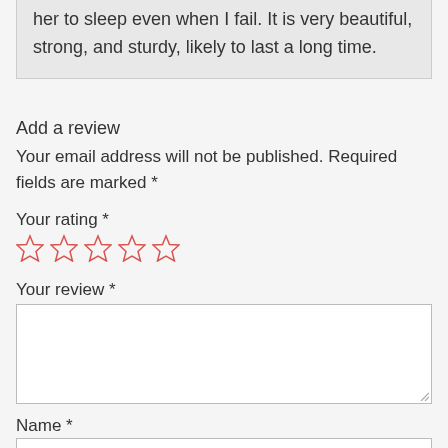her to sleep even when I fail. It is very beautiful, strong, and sturdy, likely to last a long time.
Add a review
Your email address will not be published. Required fields are marked *
Your rating *
[Figure (other): Five empty star rating icons in red/orange outline]
Your review *
[Figure (other): Empty textarea input box for review text]
Name *
[Figure (other): Empty text input box for name]